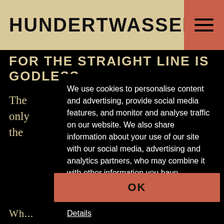HUNDERTWASSER
FOR THE STRAIGHT LINE IS GODLESS.
The only the
We use cookies to personalise content and advertising, provide social media features, and monitor and analyse traffic on our website. We also share information about your use of our site with our social media, advertising and analytics partners, who may combine it with other information you have provided to them, or which they have collected from your use of their services. Details
The Who man l'hu
OK
Wh...